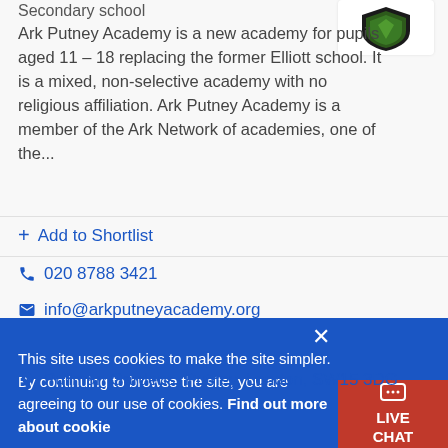Secondary school
[Figure (logo): Ark Putney Academy shield logo with green and black design on white card background]
Ark Putney Academy is a new academy for pupils aged 11 – 18 replacing the former Elliott school. It is a mixed, non-selective academy with no religious affiliation. Ark Putney Academy is a member of the Ark Network of academies, one of the...
+ Add to Shortlist
020 8788 3421
info@arkputneyacademy.org
Website
Pullman Gardens, Putney, London, SW15 3DG
This site uses cookies to make the site simpler. By continuing to browse the site, you are agreeing to our use of cookies. Find out more about cooki…
LIVE CHAT